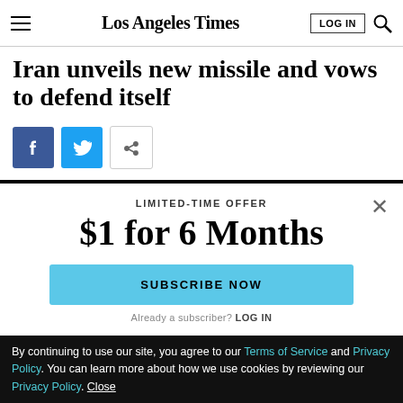Los Angeles Times
Iran unveils new missile and vows to defend itself
[Figure (infographic): Social share buttons: Facebook (blue), Twitter (light blue), and a share icon (outlined)]
LIMITED-TIME OFFER
$1 for 6 Months
SUBSCRIBE NOW
Already a subscriber? LOG IN
By continuing to use our site, you agree to our Terms of Service and Privacy Policy. You can learn more about how we use cookies by reviewing our Privacy Policy. Close